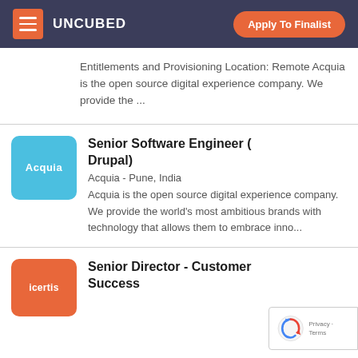UNCUBED | Apply To Finalist
Entitlements and Provisioning Location: Remote Acquia is the open source digital experience company. We provide the ...
Senior Software Engineer ( Drupal)
Acquia - Pune, India
Acquia is the open source digital experience company. We provide the world's most ambitious brands with technology that allows them to embrace inno...
Senior Director - Customer Success